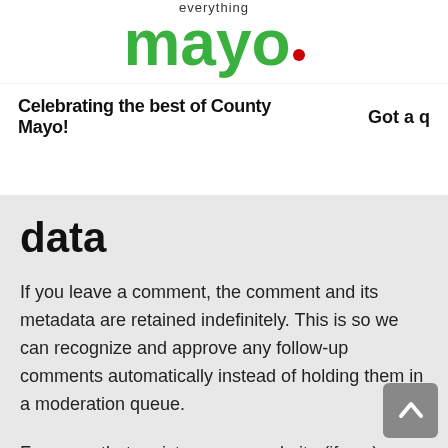[Figure (logo): Everything Mayo logo - green bold text with red dot]
Celebrating the best of County Mayo!   Got a qu
data
If you leave a comment, the comment and its metadata are retained indefinitely. This is so we can recognize and approve any follow-up comments automatically instead of holding them in a moderation queue.
For users that register on our website (if any), we also store the personal information they provide in their user profile. All users can see, edit or delete